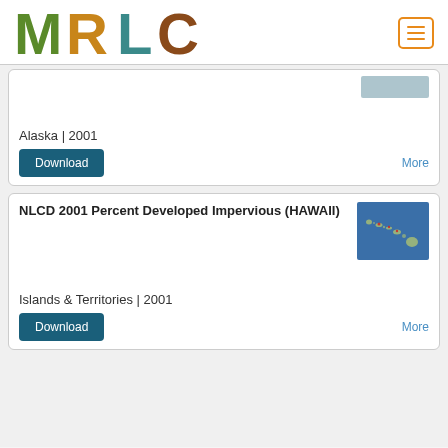MRLC
Alaska | 2001
Download
More
NLCD 2001 Percent Developed Impervious (HAWAII)
[Figure (map): Satellite/aerial map view of Hawaii islands chain on blue ocean background with small red markers]
Islands & Territories | 2001
Download
More